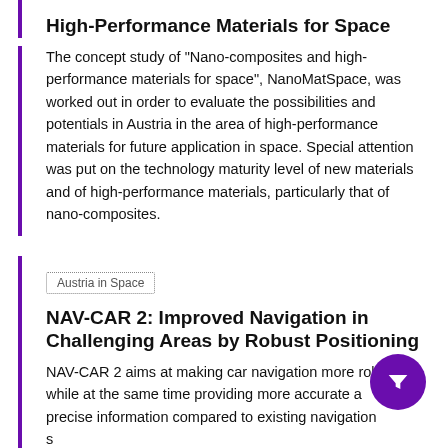High-Performance Materials for Space
The concept study of "Nano-composites and high-performance materials for space", NanoMatSpace, was worked out in order to evaluate the possibilities and potentials in Austria in the area of high-performance materials for future application in space. Special attention was put on the technology maturity level of new materials and of high-performance materials, particularly that of nano-composites.
Austria in Space
NAV-CAR 2: Improved Navigation in Challenging Areas by Robust Positioning
NAV-CAR 2 aims at making car navigation more robust while at the same time providing more accurate and precise information compared to existing navigation solutions. The focus lies on...